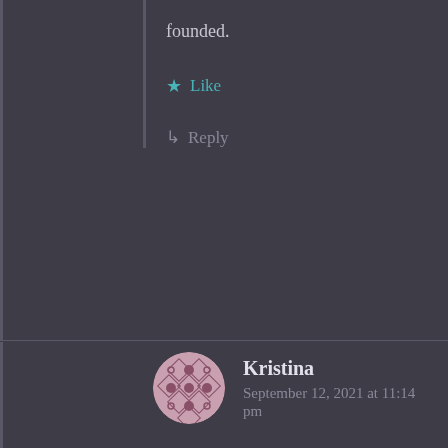founded.
Like
Reply
Kristina
September 12, 2021 at 11:14 pm
You're absolutely correct. It was, I believe, Good Queen Aly on Tumblr who did the math and found that GRRM's women die in childbirth WAY too often and the children all